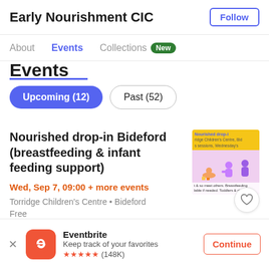Early Nourishment CIC
Events
Upcoming (12)   Past (52)
Nourished drop-in Bideford (breastfeeding & infant feeding support)
Wed, Sep 7, 09:00 + more events
Torridge Children's Centre • Bideford
Free
[Figure (illustration): Event thumbnail showing Nourished drop-in Bideford illustration with people and breastfeeding support imagery]
Eventbrite
Keep track of your favorites
★★★★★ (148K)